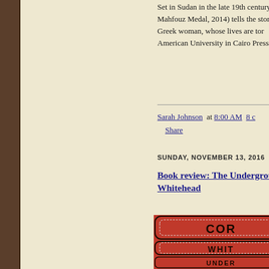Set in Sudan in the late 19th century, Mahfouz Medal, 2014) tells the story of a Greek woman, whose lives are torn. American University in Cairo Press
Sarah Johnson  at  8:00 AM   8 c  Share
SUNDAY, NOVEMBER 13, 2016
Book review: The Underground Railroad by Colson Whitehead
[Figure (photo): Book cover of The Underground Railroad by Colson Whitehead, red background with text COR, WHIT, UNDER in bold dark letters]